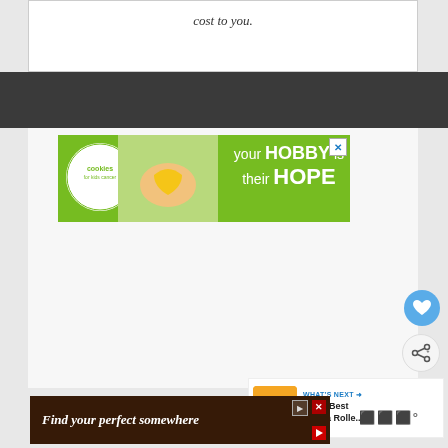cost to you.
[Figure (screenshot): Advertisement banner for Cookies for Kids Cancer: green background with white text 'your HOBBY is their HOPE' and circular logo on left. Close button (X) in top right corner.]
[Figure (screenshot): Blue circular heart/favorite button]
[Figure (screenshot): White circular share button with share icon]
[Figure (screenshot): What's Next panel showing thumbnail and text 'The 7 Best Derma Rolle...']
[Figure (screenshot): Bottom advertisement banner with text 'Find your perfect somewhere' on dark background with close/skip buttons]
⬛⬛⬛°